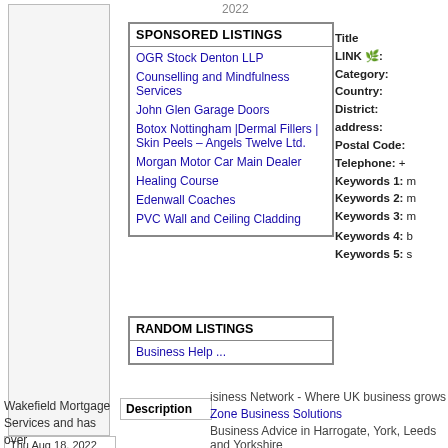2022
SPONSORED LISTINGS
OGR Stock Denton LLP
Counselling and Mindfulness Services
John Glen Garage Doors
Botox Nottingham | Dermal Fillers | Skin Peels - Angels Twelve Ltd.
Morgan Motor Car Main Dealer
Healing Course
Edenwall Coaches
PVC Wall and Ceiling Cladding
RANDOM LISTINGS
Business Help ...
Title
LINK:
Category:
Country:
District:
address:
Postal Code:
Telephone:
Keywords 1:
Keywords 2:
Keywords 3:
Keywords 4:
Keywords 5:
Description
isiness Network - Where UK business grows
Zone Business Solutions
Business Advice in Harrogate, York, Leeds and Yorkshire
BWBD LTD | IT Support Leeds IT Consultancy Leeds |
Wakefield Mortgage Services and has over
Thu Aug 18, 2022 11:35 am